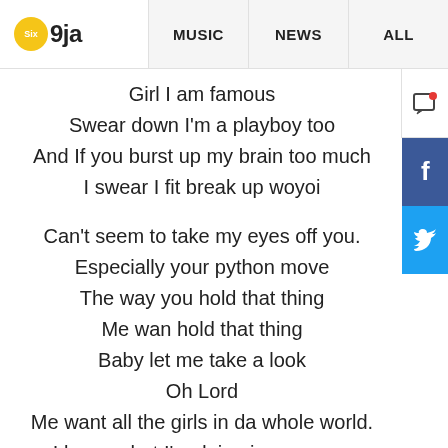Six 9ja | MUSIC | NEWS | ALL
Girl I am famous
Swear down I'm a playboy too
And If you burst up my brain too much
I swear I fit break up woyoi
Can't seem to take my eyes off you.
Especially your python move
The way you hold that thing
Me wan hold that thing
Baby let me take a look
Oh Lord
Me want all the girls in da whole world.
I know what I'm doing is so wrong
But since no man can focus,
We definitely don't give a fvck.
She said she know me get a girlfriend
And so what